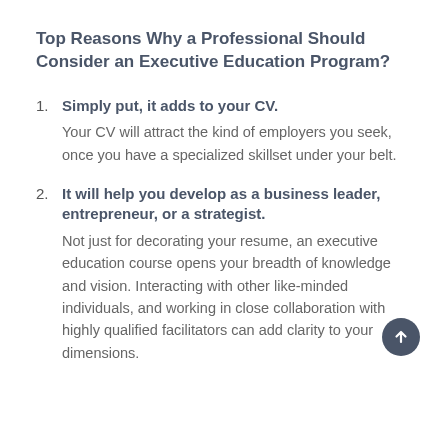Top Reasons Why a Professional Should Consider an Executive Education Program?
Simply put, it adds to your CV. Your CV will attract the kind of employers you seek, once you have a specialized skillset under your belt.
It will help you develop as a business leader, entrepreneur, or a strategist. Not just for decorating your resume, an executive education course opens your breadth of knowledge and vision. Interacting with other like-minded individuals, and working in close collaboration with highly qualified facilitators can add clarity to your dimensions.